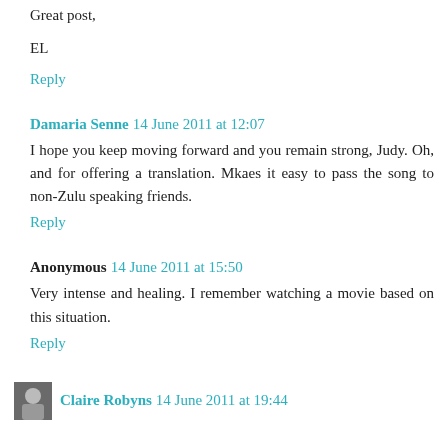Great post,
EL
Reply
Damaria Senne 14 June 2011 at 12:07
I hope you keep moving forward and you remain strong, Judy. Oh, and for offering a translation. Mkaes it easy to pass the song to non-Zulu speaking friends.
Reply
Anonymous 14 June 2011 at 15:50
Very intense and healing. I remember watching a movie based on this situation.
Reply
Claire Robyns 14 June 2011 at 19:44